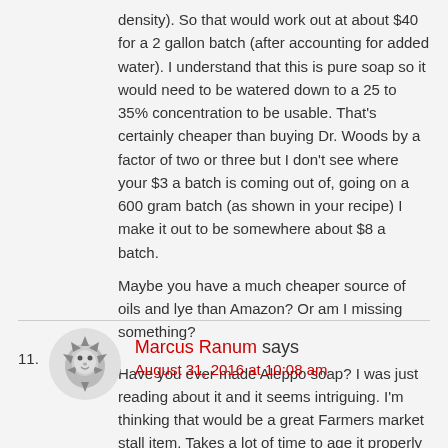density). So that would work out at about $40 for a 2 gallon batch (after accounting for added water). I understand that this is pure soap so it would need to be watered down to a 25 to 35% concentration to be usable. That's certainly cheaper than buying Dr. Woods by a factor of two or three but I don't see where your $3 a batch is coming out of, going on a 600 gram batch (as shown in your recipe) I make it out to be somewhere about $8 a batch.
Maybe you have a much cheaper source of oils and lye than Amazon? Or am I missing something?
Have you ever made Aleppo soap? I was just reading about it and it seems intriguing. I'm thinking that would be a great Farmers market stall item. Takes a lot of time to age it properly though it seems.
11. Marcus Ranum says
August 31, 2016 at 10:08 am